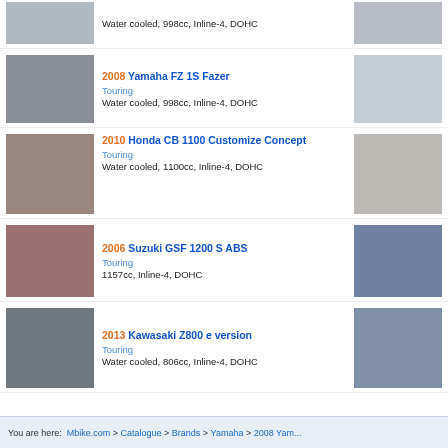Water cooled, 998cc, Inline-4, DOHC (partial top entry)
2008 Yamaha FZ 1S Fazer — Touring — Water cooled, 998cc, Inline-4, DOHC
2010 Honda CB 1100 Customize Concept — Touring — Water cooled, 1100cc, Inline-4, DOHC
2006 Suzuki GSF 1200 S ABS — Touring — 1157cc, Inline-4, DOHC
2013 Kawasaki Z800 e version — Touring — Water cooled, 806cc, Inline-4, DOHC
You are here: Mbike.com > Catalogue > Brands > Yamaha > 2008 Yam...